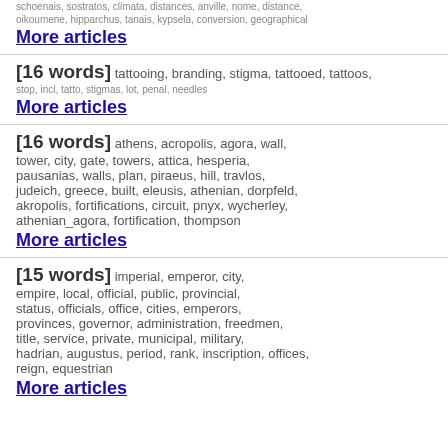schoenais, sostratos, climata, distances, anville, nome, distance,
oikoumene, hipparchus, tanais, kypsela, conversion, geographical
More articles
[16 words] tattooing, branding, stigma, tattooed, tattoos, stop, incl, tatto, stigmas, lot, penal, needles
More articles
[16 words] athens, acropolis, agora, wall, tower, city, gate, towers, attica, hesperia, pausanias, walls, plan, piraeus, hill, travlos, judeich, greece, built, eleusis, athenian, dorpfeld, akropolis, fortifications, circuit, pnyx, wycherley, athenian_agora, fortification, thompson
More articles
[15 words] imperial, emperor, city, empire, local, official, public, provincial, status, officials, office, cities, emperors, provinces, governor, administration, freedmen, title, service, private, municipal, military, hadrian, augustus, period, rank, inscription, offices, reign, equestrian
More articles